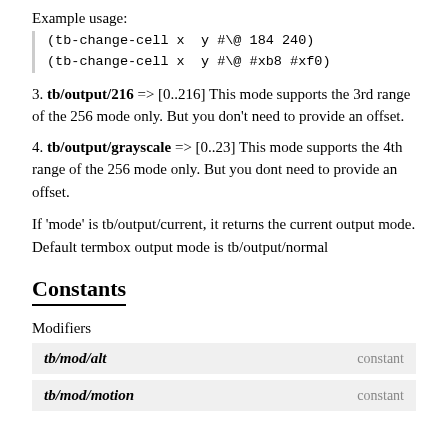Example usage:
(tb-change-cell x  y #\@ 184 240)
(tb-change-cell x  y #\@ #xb8 #xf0)
3. tb/output/216 => [0..216] This mode supports the 3rd range of the 256 mode only. But you don't need to provide an offset.
4. tb/output/grayscale => [0..23] This mode supports the 4th range of the 256 mode only. But you dont need to provide an offset.
If 'mode' is tb/output/current, it returns the current output mode. Default termbox output mode is tb/output/normal
Constants
Modifiers
| Name | Type |
| --- | --- |
| tb/mod/alt | constant |
| tb/mod/motion | constant |